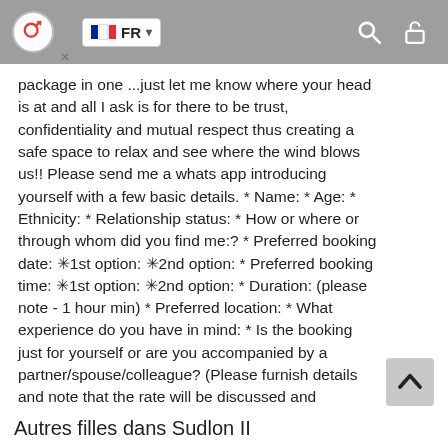FR navigation bar with search and lock icons
package in one ...just let me know where your head is at and all I ask is for there to be trust, confidentiality and mutual respect thus creating a safe space to relax and see where the wind blows us!! Please send me a whats app introducing yourself with a few basic details. * Name: * Age: * Ethnicity: * Relationship status: * How or where or through whom did you find me:? * Preferred booking date: ✳1st option: ✳2nd option: * Preferred booking time: ✳1st option: ✳2nd option: * Duration: (please note - 1 hour min) * Preferred location: * What experience do you have in mind: * Is the booking just for yourself or are you accompanied by a partner/spouse/colleague? (Please furnish details and note that the rate will be discussed and amended accordingly) I hope I have aroused your curiosity? I look forward to hearing from you!
Autres filles dans Sudlon II